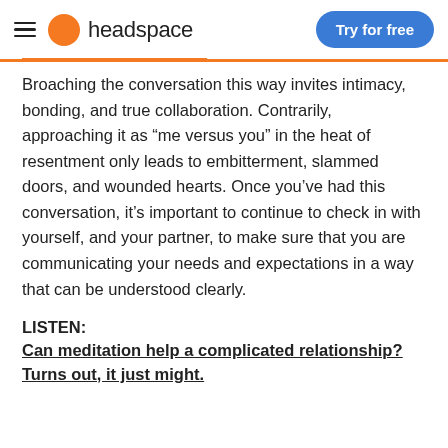headspace | Try for free
Broaching the conversation this way invites intimacy, bonding, and true collaboration. Contrarily, approaching it as “me versus you” in the heat of resentment only leads to embitterment, slammed doors, and wounded hearts. Once you’ve had this conversation, it’s important to continue to check in with yourself, and your partner, to make sure that you are communicating your needs and expectations in a way that can be understood clearly.
LISTEN:
Can meditation help a complicated relationship? Turns out, it just might.